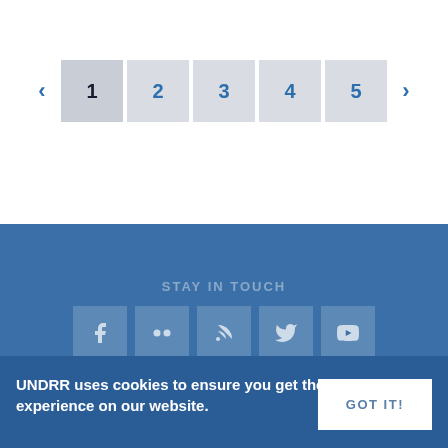[Figure (other): Pagination navigation bar with left arrow, page buttons 1–5 (page 1 active/highlighted), and right arrow]
STAY IN TOUCH
[Figure (other): Social media icons row: Facebook, Flickr, RSS, Twitter, YouTube — white icons on semi-transparent blue square backgrounds]
UNDRR uses cookies to ensure you get the best experience on our website.
GOT IT!